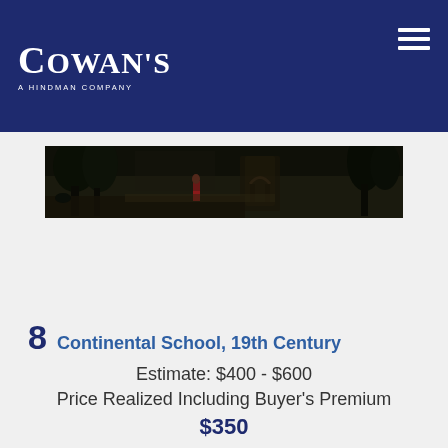Cowan's - A Hindman Company
[Figure (photo): A dark, horizontal landscape painting from the Continental School, 19th Century, showing trees, ruins/archway, and figures in a classical landscape setting.]
8  Continental School, 19th Century
Estimate: $400 - $600
Price Realized Including Buyer's Premium
$350